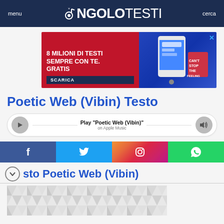menu  ANGOLOTESTI  cerca
[Figure (infographic): Advertisement banner: '8 MILIONI DI TESTI SEMPRE CON TE. GRATIS' with SCARICA button, red background on left, phone/app image on right with blue background, close X button in top right]
Poetic Web (Vibin) Testo
[Figure (infographic): Audio player bar with play button on left, 'Play "Poetic Web (Vibin)"' text in center, 'on Apple Music' subtitle, volume icon on right]
[Figure (infographic): Social sharing bar with Facebook, Twitter, Instagram, and WhatsApp buttons]
Testo Poetic Web (Vibin)
[Figure (illustration): Decorative geometric triangle pattern in light grey at bottom of page]